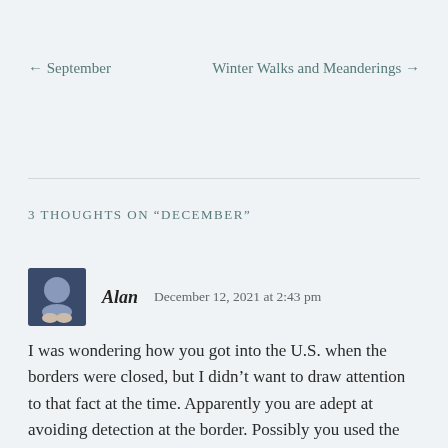← September   Winter Walks and Meanderings →
3 THOUGHTS ON "December"
Alan   December 12, 2021 at 2:43 pm
I was wondering how you got into the U.S. when the borders were closed, but I didn't want to draw attention to that fact at the time. Apparently you are adept at avoiding detection at the border. Possibly you used the route that rum runners used in the 1920s